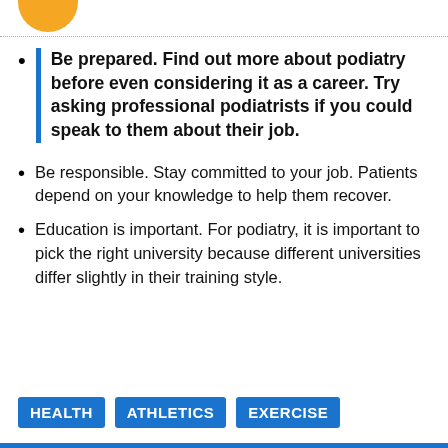Be prepared. Find out more about podiatry before even considering it as a career. Try asking professional podiatrists if you could speak to them about their job.
Be responsible. Stay committed to your job. Patients depend on your knowledge to help them recover.
Education is important. For podiatry, it is important to pick the right university because different universities differ slightly in their training style.
HEALTH   ATHLETICS   EXERCISE